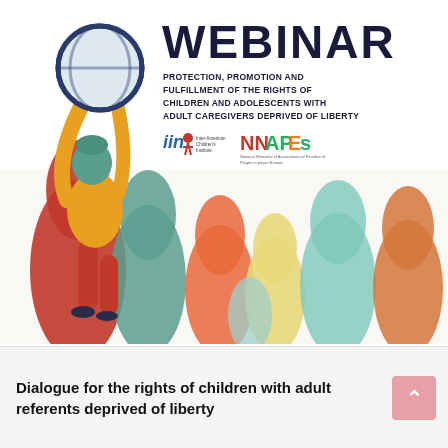[Figure (illustration): Webinar promotional poster featuring a person holding up a globe/magnifying glass, surrounded by colorful raised hands/plant shapes in red, teal, orange, and yellow. Title reads WEBINAR with subtitle about protection of children's rights. IIN and NNAPEs logos shown.]
Dialogue for the rights of children with adult referents deprived of liberty